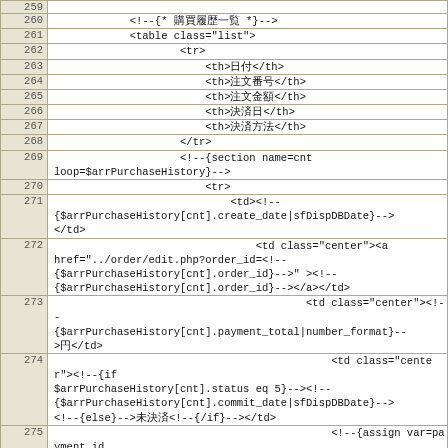| 259 |  |
| 260 | <!--{* 購買履歴一覧 *}--> |
| 261 | <table class="list"> |
| 262 |     <tr> |
| 263 |         <th>日付</th> |
| 264 |         <th>注文番号</th> |
| 265 |         <th>注文金額</th> |
| 266 |         <th>決済日</th> |
| 267 |         <th>決済方法</th> |
| 268 |     </tr> |
| 269 |     <!--{section name=cnt loop=$arrPurchaseHistory}--> |
| 270 |         <tr> |
| 271 |             <td><!--{$arrPurchaseHistory[cnt].create_date|sfDispDBDate}--></td> |
| 272 |             <td class="center"><a href="../order/edit.php?order_id=<!--{$arrPurchaseHistory[cnt].order_id}-->" ><!--{$arrPurchaseHistory[cnt].order_id}--></a></td> |
| 273 |             <td class="center"><!--{$arrPurchaseHistory[cnt].payment_total|number_format}-->円</td> |
| 274 |             <td class="center"><!--{if $arrPurchaseHistory[cnt].status eq 5}--><!--{$arrPurchaseHistory[cnt].commit_date|sfDispDBDate}--><!--{else}-->未決済<!--{/if}--></td> |
| 275 |             <!--{assign var=payment_id value="`$arrPurchaseHistory[cnt].payment_id`"}--> |
| 276 |             <td class="center"><!--{$arrPayment[$payment_id]|h}--></td> |
| 277 |         </tr> |
| 278 |     <!--{/section}--> |
| 279 | </table> |
| 280 | <!--{* 購買履歴一覧 *}--> |